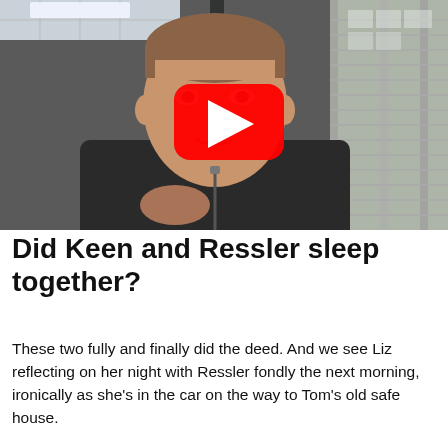[Figure (screenshot): Video thumbnail showing a young man in a black hoodie sitting in an office/room, with a red YouTube play button overlay in the center of the image.]
Did Keen and Ressler sleep together?
These two fully and finally did the deed. And we see Liz reflecting on her night with Ressler fondly the next morning, ironically as she’s in the car on the way to Tom’s old safe house.